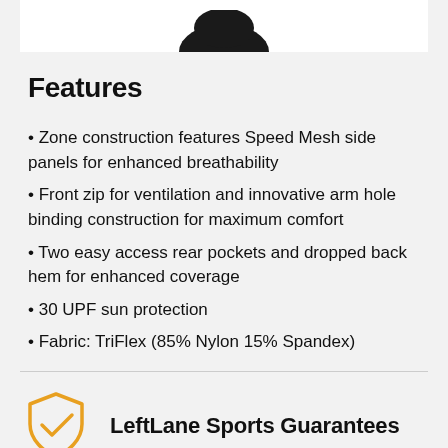[Figure (photo): Partial product image of a black hat/cap at the top of the page, cropped at the bottom of the white product image area]
Features
Zone construction features Speed Mesh side panels for enhanced breathability
Front zip for ventilation and innovative arm hole binding construction for maximum comfort
Two easy access rear pockets and dropped back hem for enhanced coverage
30 UPF sun protection
Fabric: TriFlex (85% Nylon 15% Spandex)
[Figure (logo): LeftLane Sports shield/checkmark logo in gold/yellow outline]
LeftLane Sports Guarantees